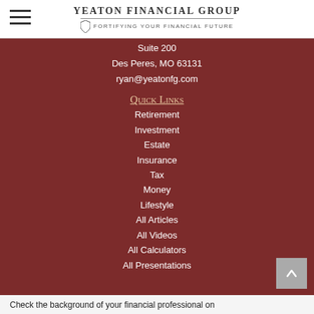Yeaton Financial Group — Fortifying Your Financial Future
Suite 200
Des Peres, MO 63131
ryan@yeatonfg.com
Quick Links
Retirement
Investment
Estate
Insurance
Tax
Money
Lifestyle
All Articles
All Videos
All Calculators
All Presentations
Check the background of your financial professional on